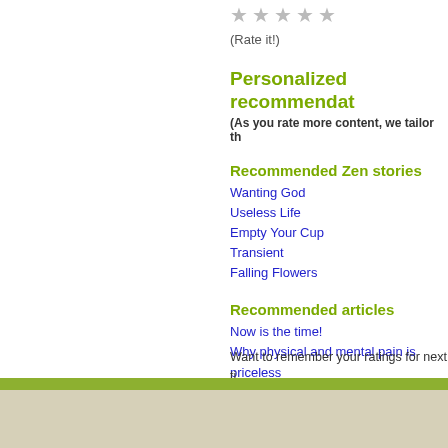[Figure (other): Five grey star rating icons]
(Rate it!)
Personalized recommendat…
(As you rate more content, we tailor th…
Recommended Zen stories
Wanting God
Useless Life
Empty Your Cup
Transient
Falling Flowers
Recommended articles
Now is the time!
Why physical and mental pain is priceless…
Relating to our moods: labeling and moni…
Don't be competitive!
Practise patience!
Recommended quotes
Want to remember your ratings for next ti… Existing users: Log in here!